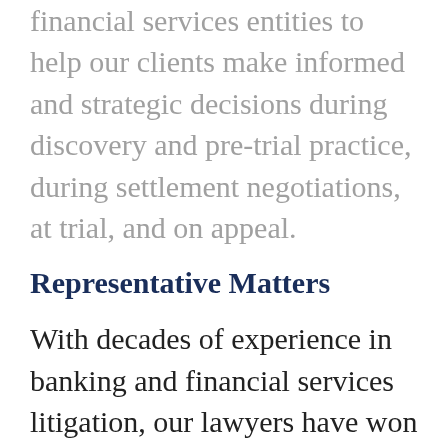financial services entities to help our clients make informed and strategic decisions during discovery and pre-trial practice, during settlement negotiations, at trial, and on appeal.
Representative Matters
With decades of experience in banking and financial services litigation, our lawyers have won many notable cases at the trial